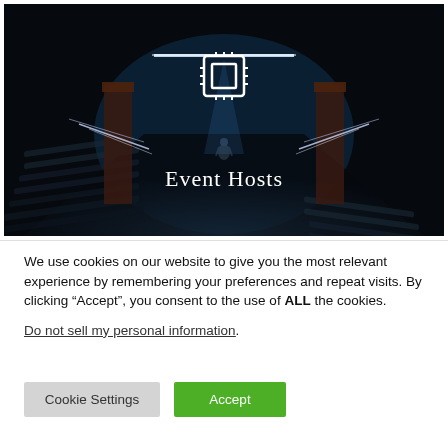[Figure (illustration): Dark cinematic image of a large auditorium/theater with rows of seats, a figure standing at the far end under a spotlight, neon light streaks on the sides, and a white CPU/chip icon centered at the top. Text 'Event Hosts' displayed in white serif font near the bottom center.]
We use cookies on our website to give you the most relevant experience by remembering your preferences and repeat visits. By clicking “Accept”, you consent to the use of ALL the cookies.
Do not sell my personal information.